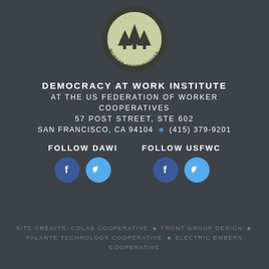[Figure (logo): United States Federation of Worker Cooperatives circular badge logo with trees and birds]
DEMOCRACY AT WORK INSTITUTE
AT THE US FEDERATION OF WORKER COOPERATIVES
57 POST STREET, STE 602
SAN FRANCISCO, CA 94104 • (415) 379-9201
FOLLOW DAWI    FOLLOW USFWC
[Figure (infographic): Facebook and Twitter social media icon buttons for DAWI and USFWC]
SITE CREDITS: COLAB COOPERATIVE • FRONT GROUP DESIGN • PALANTE TECHNOLOGY COOPERATIVE • ELECTRIC EMBERS COOPERATIVE